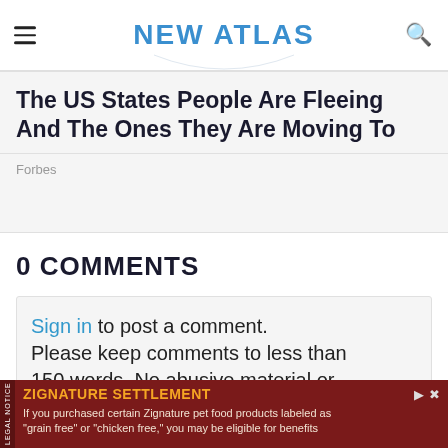NEW ATLAS
The US States People Are Fleeing And The Ones They Are Moving To
Forbes
0 COMMENTS
Sign in to post a comment. Please keep comments to less than 150 words. No abusive material or spam will be published.
ZIGNATURE SETTLEMENT — If you purchased certain Zignature pet food products labeled as "grain free" or "chicken free," you may be eligible for benefits